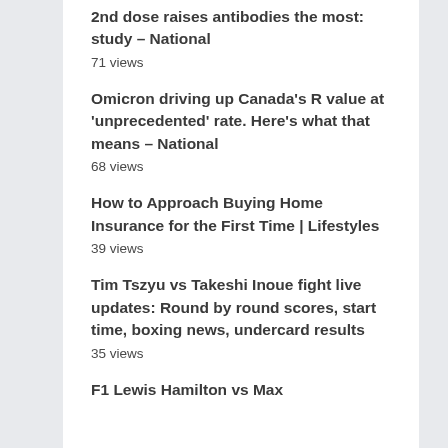2nd dose raises antibodies the most: study – National
71 views
Omicron driving up Canada's R value at 'unprecedented' rate. Here's what that means – National
68 views
How to Approach Buying Home Insurance for the First Time | Lifestyles
39 views
Tim Tszyu vs Takeshi Inoue fight live updates: Round by round scores, start time, boxing news, undercard results
35 views
F1 Lewis Hamilton vs Max